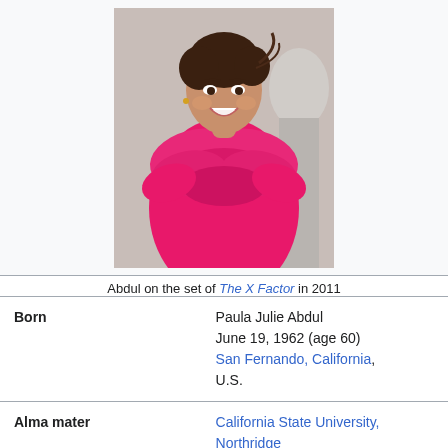[Figure (photo): Photo of Paula Abdul wearing a pink ruffled dress, smiling, on the set of The X Factor in 2011]
Abdul on the set of The X Factor in 2011
| Born | Paula Julie Abdul
June 19, 1962 (age 60)
San Fernando, California, U.S. |
| Alma mater | California State University, Northridge |
| Occupation | Singer • dancer • |